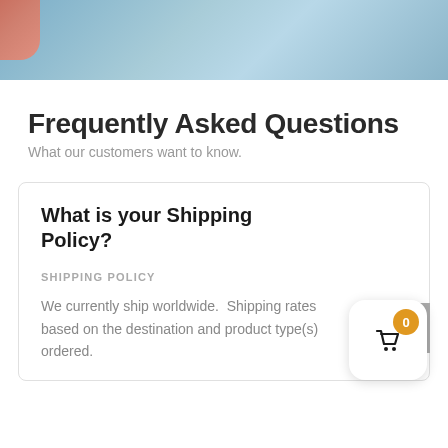[Figure (photo): Hero image showing a hand/finger against a blue background, partially visible at top of page]
Frequently Asked Questions
What our customers want to know.
What is your Shipping Policy?
SHIPPING POLICY
We currently ship worldwide.  Shipping rates based on the destination and product type(s) ordered.